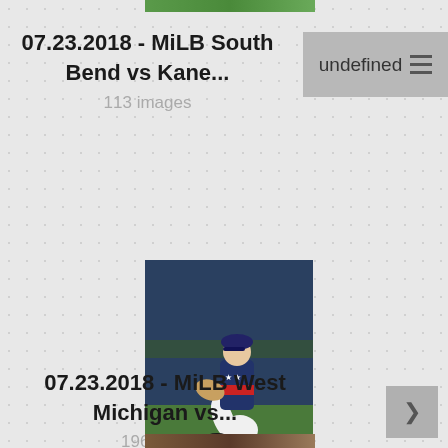[Figure (screenshot): Top partial image strip showing green field/grass]
07.23.2018 - MiLB South Bend vs Kane...
113 images
[Figure (photo): Baseball pitcher in wind-up stance, wearing red/white/blue stars uniform and navy cap, against dark blue outfield wall background]
07.23.2018 - MiLB West Michigan vs...
196 images
[Figure (screenshot): Bottom partial image strip]
undefined